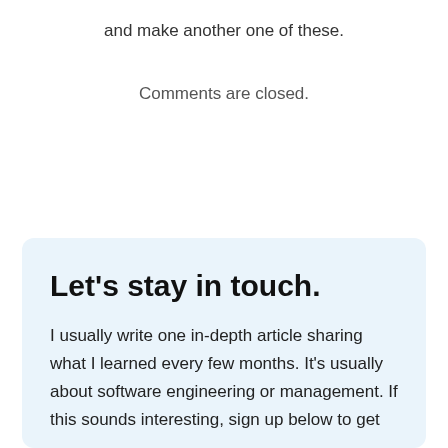and make another one of these.
Comments are closed.
Let's stay in touch.
I usually write one in-depth article sharing what I learned every few months. It's usually about software engineering or management. If this sounds interesting, sign up below to get